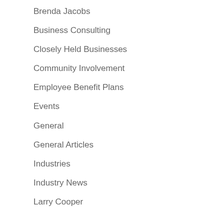Brenda Jacobs
Business Consulting
Closely Held Businesses
Community Involvement
Employee Benefit Plans
Events
General
General Articles
Industries
Industry News
Larry Cooper